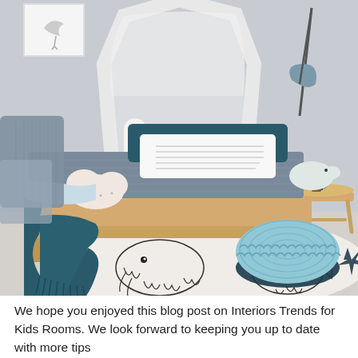[Figure (photo): A styled Scandinavian-inspired children's bedroom featuring a wooden bed with a white canopy, dark teal/navy pillows and throw blanket, grey textured bedding, cloud-shaped pillows, a round knitted light-blue pouf on a black-and-white illustrated rug, a wooden stool with a grey desk lamp, and framed art on the wall.]
We hope you enjoyed this blog post on Interiors Trends for Kids Rooms. We look forward to keeping you up to date with more tips